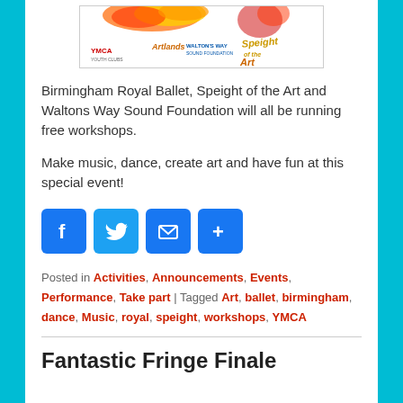[Figure (illustration): Banner image showing logos for YMCA, Artlands, Walton's Way Sound Foundation, and Speight of the Art with decorative flame/smoke graphic]
Birmingham Royal Ballet, Speight of the Art and Waltons Way Sound Foundation will all be running free workshops.
Make music, dance, create art and have fun at this special event!
[Figure (infographic): Social share icons: Facebook (blue), Twitter (blue), Email (blue), More/Share (blue)]
Posted in Activities, Announcements, Events, Performance, Take part | Tagged Art, ballet, birmingham, dance, Music, royal, speight, workshops, YMCA
Fantastic Fringe Finale